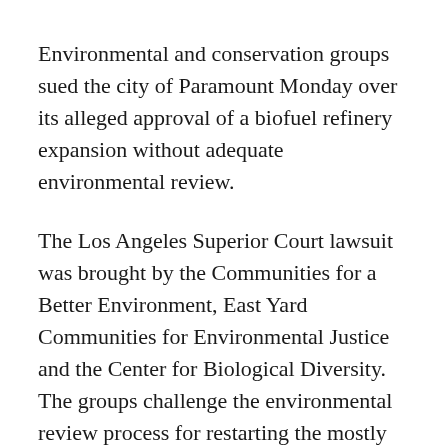Environmental and conservation groups sued the city of Paramount Monday over its alleged approval of a biofuel refinery expansion without adequate environmental review.
The Los Angeles Superior Court lawsuit was brought by the Communities for a Better Environment, East Yard Communities for Environmental Justice and the Center for Biological Diversity. The groups challenge the environmental review process for restarting the mostly shuttered petroleum refinery and converting it to produce biodiesel, biogas and sustainable aviation fuel.